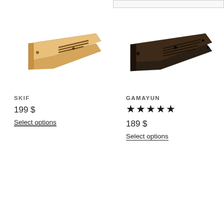[Figure (photo): Light wood colored angular zither/gusli instrument photographed on white background]
SKIF
199 $
Select options
[Figure (photo): Dark brown/black wood angular zither/gusli instrument photographed on white background]
GAMAYUN
★★★★★
189 $
Select options